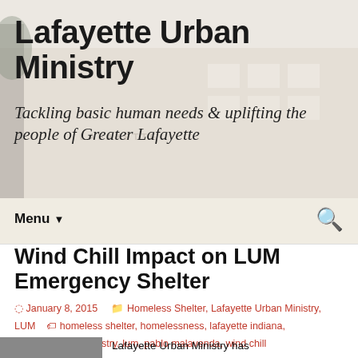Lafayette Urban Ministry
Tackling basic human needs & uplifting the people of Greater Lafayette
Menu
Wind Chill Impact on LUM Emergency Shelter
January 8, 2015  Homeless Shelter, Lafayette Urban Ministry, LUM  homeless shelter, homelessness, lafayette indiana, lafayette urban ministry, lum, pablo malavenda, wind chill
Winter Has Arrived!
Lafayette Urban Ministry has